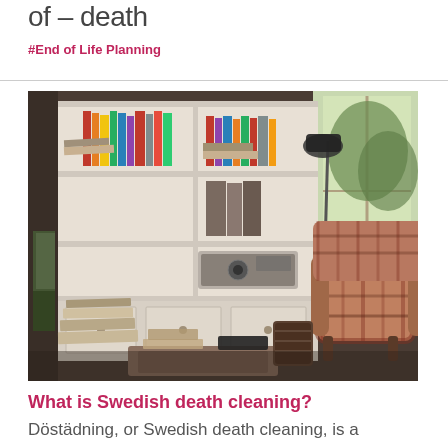of – death
#End of Life Planning
[Figure (photo): Interior room photo showing a cluttered bookshelf filled with books, a white dresser with drawers, a plaid armchair, a floor lamp, and stacks of books and papers on the floor near a window.]
What is Swedish death cleaning?
Döstädning, or Swedish death cleaning, is a